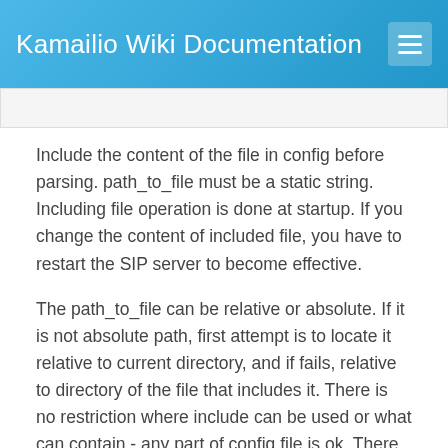Kamailio Wiki Documentation
Include the content of the file in config before parsing. path_to_file must be a static string. Including file operation is done at startup. If you change the content of included file, you have to restart the SIP server to become effective.
The path_to_file can be relative or absolute. If it is not absolute path, first attempt is to locate it relative to current directory, and if fails, relative to directory of the file that includes it. There is no restriction where include can be used or what can contain - any part of config file is ok. There is a limit of maximum 10 includes in depth, otherwise you can use as many includes as you want. Reporting of the cfg file syntax errors prints now the file name for easier troubleshooting.
If the included file is not found, the config file parser throws